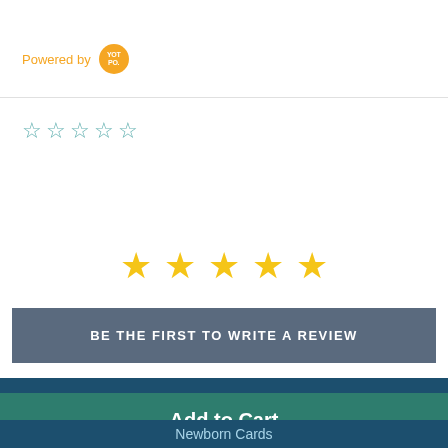Powered by YOTPO
[Figure (other): Five outline star rating icons in teal/cyan color]
[Figure (other): Five filled gold star rating icons]
BE THE FIRST TO WRITE A REVIEW
Add to Cart
Newborn Cards